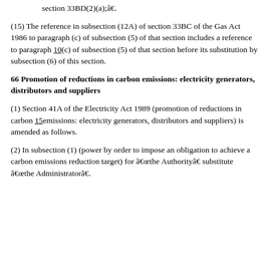section 33BD(2)(a);â€.
(15) The reference in subsection (12A) of section 33BC of the Gas Act 1986 to paragraph (c) of subsection (5) of that section includes a reference to paragraph 10(c) of subsection (5) of that section before its substitution by subsection (6) of this section.
66 Promotion of reductions in carbon emissions: electricity generators, distributors and suppliers
(1) Section 41A of the Electricity Act 1989 (promotion of reductions in carbon 15emissions: electricity generators, distributors and suppliers) is amended as follows.
(2) In subsection (1) (power by order to impose an obligation to achieve a carbon emissions reduction target) for â€œthe Authorityâ€ substitute â€œthe Administratorâ€.